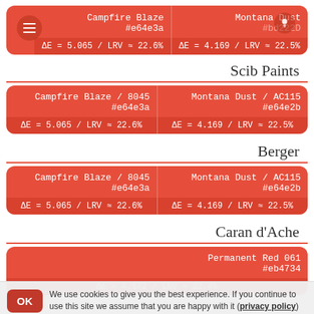[Figure (infographic): Top color match card with two swatches side by side: Campfire Blaze #e64e3a (ΔE=5.065/LRV≈22.6%) and Montana Dust #bd222d (ΔE=4.169/LRV≈22.5%), with hamburger menu icon and bulb icon]
Scib Paints
[Figure (infographic): Scib Paints color card: left=Campfire Blaze/8045 #e64e3a ΔE=5.065/LRV≈22.6%, right=Montana Dust/AC115 #e64e2b ΔE=4.169/LRV≈22.5%]
Berger
[Figure (infographic): Berger color card: left=Campfire Blaze/8045 #e64e3a ΔE=5.065/LRV≈22.6%, right=Montana Dust/AC115 #e64e2b ΔE=4.169/LRV≈22.5%]
Caran d'Ache
[Figure (infographic): Caran d'Ache color card: Permanent Red 061 #eb4734 ΔE=4.172/LRV≈22.4%]
We use cookies to give you the best experience. If you continue to use this site we assume that you are happy with it (privacy policy)